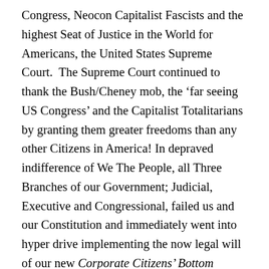Congress, Neocon Capitalist Fascists and the highest Seat of Justice in the World for Americans, the United States Supreme Court.  The Supreme Court continued to thank the Bush/Cheney mob, the ‘far seeing US Congress’ and the Capitalist Totalitarians by granting them greater freedoms than any other Citizens in America! In depraved indifference of We The People, all Three Branches of our Government; Judicial, Executive and Congressional, failed us and our Constitution and immediately went into hyper drive implementing the now legal will of our new Corporate Citizens’ Bottom Lines.  They gave us a President who finally sold the entire Country commercial “health care”… Insurance! for God’s sake!  By the way, anyone notice that insurance is not health care?   Imagine that!